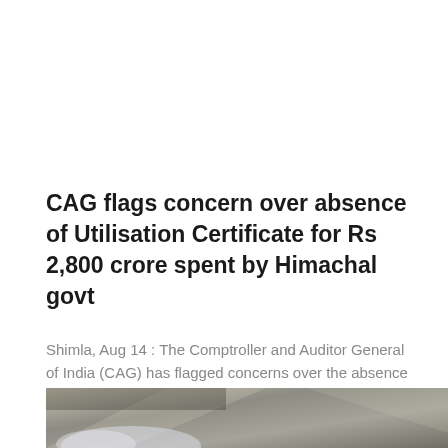CAG flags concern over absence of Utilisation Certificate for Rs 2,800 crore spent by Himachal govt
Shimla, Aug 14 : The Comptroller and Auditor General of India (CAG) has flagged concerns over the absence of Utilisation Certificate (UC) for work worth Rs 2,800 crore by the Himachal Pradesh governme [...]
[Figure (photo): Outdoor ground-level photo showing a rough stone or gravel surface with shadows and what appears to be smoke or dust near the bottom.]